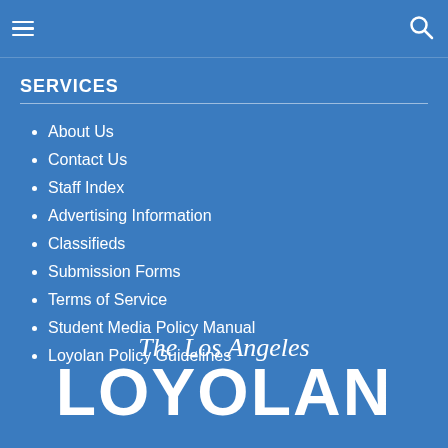SERVICES [navigation header with hamburger menu and search icon]
SERVICES
About Us
Contact Us
Staff Index
Advertising Information
Classifieds
Submission Forms
Terms of Service
Student Media Policy Manual
Loyolan Policy Guidelines
[Figure (logo): The Los Angeles Loyolan newspaper logo in white script and block letters on blue background]